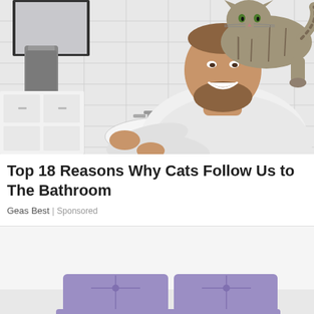[Figure (photo): A bearded man in a white t-shirt leaning over a bathroom sink, smiling up at a large tabby cat standing on the edge of the sink counter. White subway tile walls, a mirror, and gray towel visible in background.]
Top 18 Reasons Why Cats Follow Us to The Bathroom
Geas Best | Sponsored
[Figure (photo): A light gray/white room with a purple/lavender tufted sofa or daybed partially visible at the bottom of the frame.]